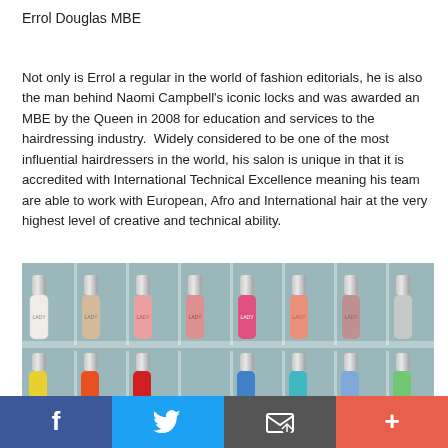Errol Douglas MBE
Not only is Errol a regular in the world of fashion editorials, he is also the man behind Naomi Campbell's iconic locks and was awarded an MBE by the Queen in 2008 for education and services to the hairdressing industry.  Widely considered to be one of the most influential hairdressers in the world, his salon is unique in that it is accredited with International Technical Excellence meaning his team are able to work with European, Afro and International hair at the very highest level of creative and technical ability.
[Figure (photo): Photo of multiple nail polish bottles arranged in rows inside a clear plastic organizer tray. The bottles have silver caps and come in various colors including white, beige, pink, coral, hot pink, peach, mauve, and clear in the top row, and yellow, orange, red, blue, turquoise, and other colors visible in the bottom row. Many bottles are labeled 'LADY'.]
f  [Twitter bird]  [Email icon]  +